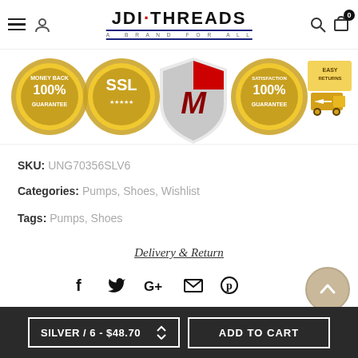JDI·THREADS — A BRAND FOR ALL
[Figure (infographic): Row of five trust badge icons: 100% Money Back Guarantee (gold seal), SSL (gold seal), McAfee M shield, 100% Satisfaction Guarantee (gold seal), Easy Returns truck graphic (gold)]
SKU: UNG70356SLV6
Categories: Pumps, Shoes, Wishlist
Tags: Pumps, Shoes
Delivery & Return
[Figure (infographic): Social share icons row: Facebook, Twitter, Google+, Email (envelope), Pinterest]
[Figure (other): Beige/tan circular back-to-top button with upward chevron arrow]
SILVER / 6 - $48.70  ADD TO CART